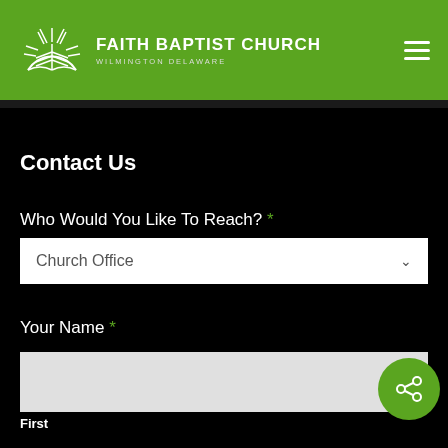[Figure (logo): Faith Baptist Church logo with open book/sun rays icon and church name, on green header background]
Contact Us
Who Would You Like To Reach? *
Church Office (dropdown select)
Your Name *
First